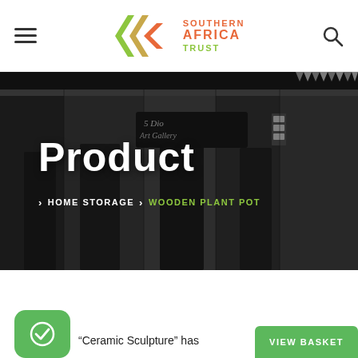[Figure (logo): Southern Africa Trust logo with double chevron arrow and text]
[Figure (photo): Black and white photo of a street market/storefront with signs including an art gallery]
Product
> HOME STORAGE > WOODEN PLANT POT
“Ceramic Sculpture” has
VIEW BASKET